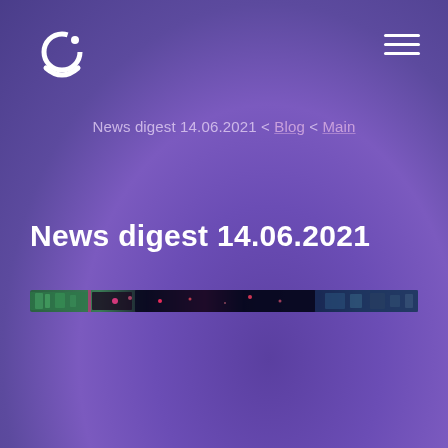Logo and navigation
News digest 14.06.2021 < Blog < Main
News digest 14.06.2021
[Figure (illustration): Narrow horizontal banner image with colorful space/tech themed imagery — dark background with green, pink and blue highlights]